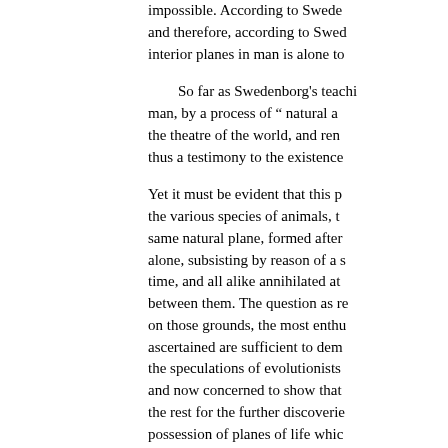impossible. According to Swede and therefore, according to Swed interior planes in man is alone to
So far as Swedenborg's teachi man, by a process of " natural a the theatre of the world, and ren thus a testimony to the existence
Yet it must be evident that this p the various species of animals, t same natural plane, formed after alone, subsisting by reason of a s time, and all alike annihilated at between them. The question as r on those grounds, the most enth ascertained are sufficient to dem the speculations of evolutionists and now concerned to show that the rest for the further discoverie possession of planes of life whic planes or degrees was a special a
How, then, are we to account for
« Προηγούμενη